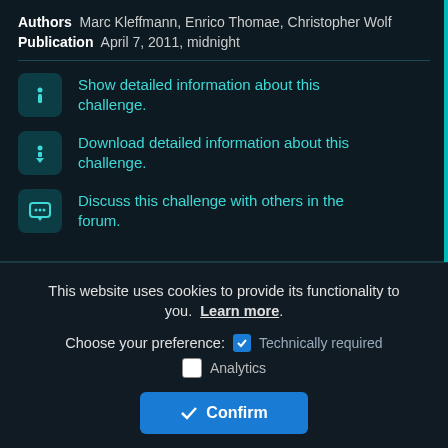Authors  Marc Kleffmann, Enrico Thomae, Christopher Wolf
Publication  April 7, 2011, midnight
Show detailed information about this challenge.
Download detailed information about this challenge.
Discuss this challenge with others in the forum.
This website uses cookies to provide its functionality to you. Learn more.
Choose your preference:  ✓ Technically required
Analytics
✓ Confirm
cuter solved the L1 challenge 'Original Caesar Cipher'  +++